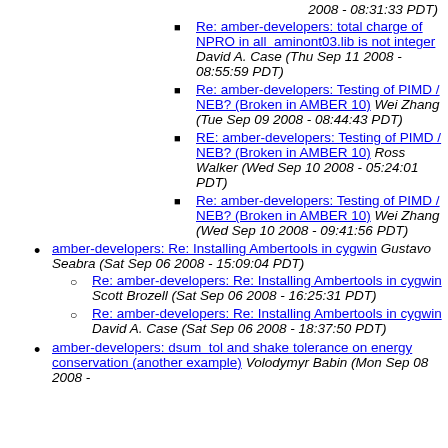2008 - 08:31:33 PDT) [partial, top of page]
Re: amber-developers: total charge of NPRO in all aminont03.lib is not integer David A. Case (Thu Sep 11 2008 - 08:55:59 PDT)
Re: amber-developers: Testing of PIMD / NEB? (Broken in AMBER 10) Wei Zhang (Tue Sep 09 2008 - 08:44:43 PDT)
RE: amber-developers: Testing of PIMD / NEB? (Broken in AMBER 10) Ross Walker (Wed Sep 10 2008 - 05:24:01 PDT)
Re: amber-developers: Testing of PIMD / NEB? (Broken in AMBER 10) Wei Zhang (Wed Sep 10 2008 - 09:41:56 PDT)
amber-developers: Re: Installing Ambertools in cygwin Gustavo Seabra (Sat Sep 06 2008 - 15:09:04 PDT)
Re: amber-developers: Re: Installing Ambertools in cygwin Scott Brozell (Sat Sep 06 2008 - 16:25:31 PDT)
Re: amber-developers: Re: Installing Ambertools in cygwin David A. Case (Sat Sep 06 2008 - 18:37:50 PDT)
amber-developers: dsum_tol and shake tolerance on energy conservation (another example) Volodymyr Babin (Mon Sep 08 2008 - 10:47:47 PDT)